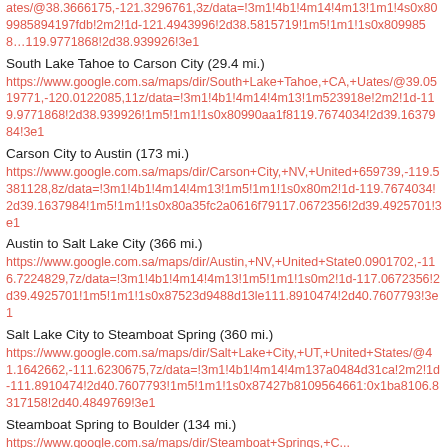ates/@38.3666175,-121.3296761,3z/data=!3m1!4b1!4m14!4m13!1m1!4s0x809985894197fdb1:2m2!1d-121.4943996!2d38.5815719!1m5!1m1!1s0x8099858...119.9771868!2d38.939926!3e1
South Lake Tahoe to Carson City (29.4 mi.)
https://www.google.com.sa/maps/dir/South+Lake+Tahoe,+CA,+Uates/@39.0519771,-120.0122085,11z/data=!3m1!4b1!4m14!4m13!1m523918e!2m2!1d-119.9771868!2d38.939926!1m5!1m1!1s0x80990aa1f8...119.7674034!2d39.1637984!3e1
Carson City to Austin (173 mi.)
https://www.google.com.sa/maps/dir/Carson+City,+NV,+United+States/@...659739,-119.5381128,8z/data=!3m1!4b1!4m14!4m13!1m5!1m1!1s0x80...m2!1d-119.7674034!2d39.1637984!1m5!1m1!1s0x80a35fc2a0616f79:...117.0672356!2d39.4925701!3e1
Austin to Salt Lake City (366 mi.)
https://www.google.com.sa/maps/dir/Austin,+NV,+United+States/@...0.0901702,-116.7224829,7z/data=!3m1!4b1!4m14!4m13!1m5!1m1!1s0...m2!1d-117.0672356!2d39.4925701!1m5!1m1!1s0x87523d9488d13ied...111.8910474!2d40.7607793!3e1
Salt Lake City to Steamboat Spring (360 mi.)
https://www.google.com.sa/maps/dir/Salt+Lake+City,+UT,+United+States/@41.1642662,-111.6230675,7z/data=!3m1!4b1!4m14!4m13!1m5!1m1!1s0x...7a0484d31ca!2m2!1d-111.8910474!2d40.7607793!1m5!1m1!1s0x87427b810956466!:0x1ba8...106.8317158!2d40.4849769!3e1
Steamboat Spring to Boulder (134 mi.)
https://www.google.com.sa/maps/dir/Steamboat+Springs,+C...